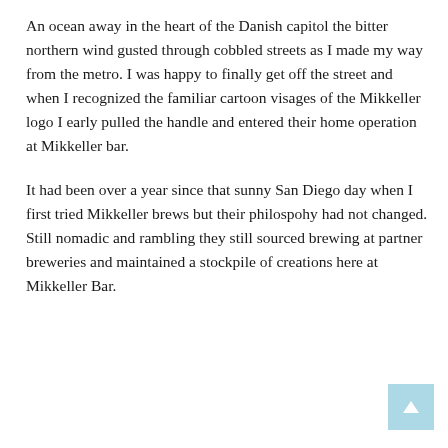An ocean away in the heart of the Danish capitol the bitter northern wind gusted through cobbled streets as I made my way from the metro. I was happy to finally get off the street and when I recognized the familiar cartoon visages of the Mikkeller logo I early pulled the handle and entered their home operation at Mikkeller bar.
It had been over a year since that sunny San Diego day when I first tried Mikkeller brews but their philospohy had not changed. Still nomadic and rambling they still sourced brewing at partner breweries and maintained a stockpile of creations here at Mikkeller Bar.